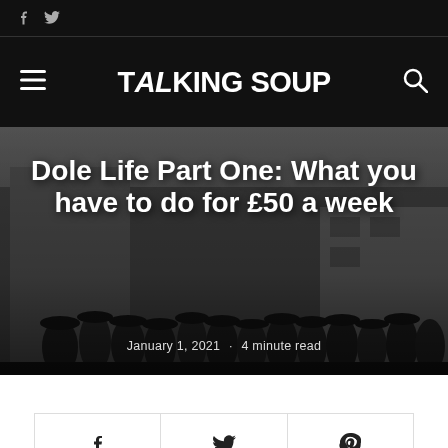f  Twitter icon (social links bar)
[Figure (logo): Talking Soup logo in white bold blocky text on black background, with hamburger menu icon on left and search icon on right]
[Figure (photo): Black and white historical photograph of a long queue of men in coats and hats standing outside a building, presumably a dole/unemployment queue]
Dole Life Part One: What you have to do for £50 a week
January 1, 2021 · 4 minute read
Facebook share button, Twitter share button, Pinterest share button